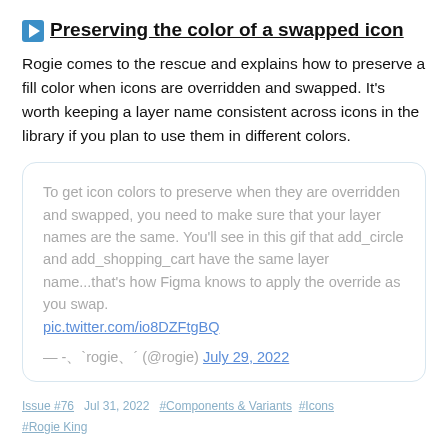Preserving the color of a swapped icon
Rogie comes to the rescue and explains how to preserve a fill color when icons are overridden and swapped. It’s worth keeping a layer name consistent across icons in the library if you plan to use them in different colors.
To get icon colors to preserve when they are overridden and swapped, you need to make sure that your layer names are the same. You'll see in this gif that add_circle and add_shopping_cart have the same layer name...that's how Figma knows to apply the override as you swap. pic.twitter.com/io8DZFtgBQ
— -、`rogie、´ (@rogie) July 29, 2022
Issue #76   Jul 31, 2022   #Components & Variants  #Icons  #Rogie King